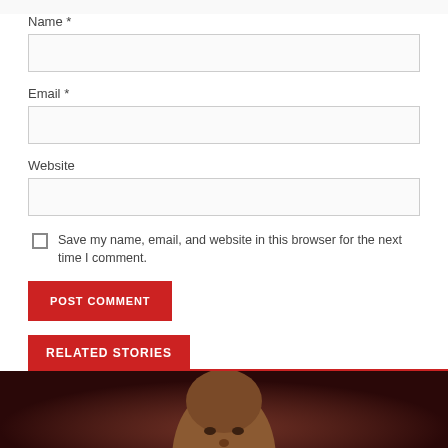Name *
Email *
Website
Save my name, email, and website in this browser for the next time I comment.
POST COMMENT
RELATED STORIES
[Figure (photo): Portrait photo of a man, partially visible at the bottom of the page, against a dark brownish-red background]